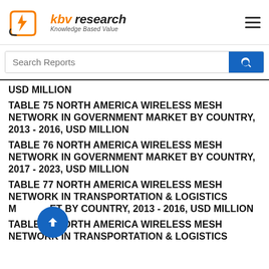KBV Research — Knowledge Based Value
USD MILLION
TABLE 75 NORTH AMERICA WIRELESS MESH NETWORK IN GOVERNMENT MARKET BY COUNTRY, 2013 - 2016, USD MILLION
TABLE 76 NORTH AMERICA WIRELESS MESH NETWORK IN GOVERNMENT MARKET BY COUNTRY, 2017 - 2023, USD MILLION
TABLE 77 NORTH AMERICA WIRELESS MESH NETWORK IN TRANSPORTATION & LOGISTICS MARKET BY COUNTRY, 2013 - 2016, USD MILLION
TABLE 78 NORTH AMERICA WIRELESS MESH NETWORK IN TRANSPORTATION & LOGISTICS